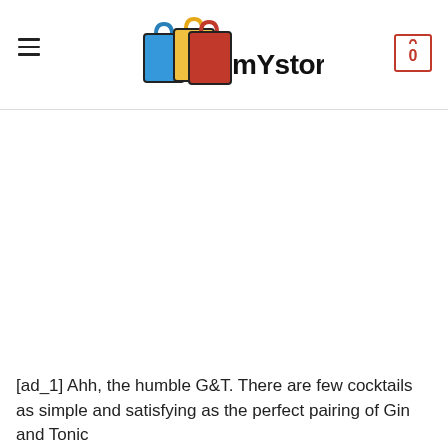mYstore4all
[Figure (logo): mYstore4all logo with shopping bags icon (blue and red bags) and text 'mYstore4all' in bold black; hamburger menu icon on left; shopping cart icon with '0' on right]
[ad_1] Ahh, the humble G&T. There are few cocktails as simple and satisfying as the perfect pairing of Gin and Tonic